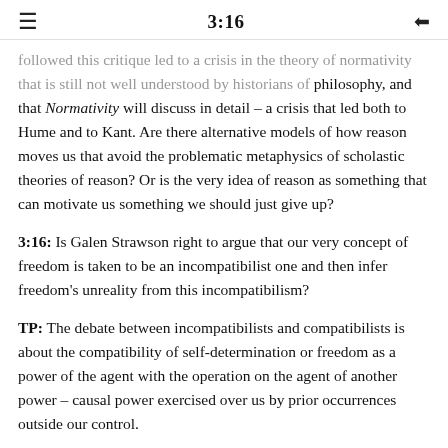3:16
followed this critique led to a crisis in the theory of normativity that is still not well understood by historians of philosophy, and that Normativity will discuss in detail – a crisis that led both to Hume and to Kant. Are there alternative models of how reason moves us that avoid the problematic metaphysics of scholastic theories of reason? Or is the very idea of reason as something that can motivate us something we should just give up?
3:16: Is Galen Strawson right to argue that our very concept of freedom is taken to be an incompatibilist one and then infer freedom's unreality from this incompatibilism?
TP: The debate between incompatibilists and compatibilists is about the compatibility of self-determination or freedom as a power of the agent with the operation on the agent of another power – causal power exercised over us by prior occurrences outside our control.